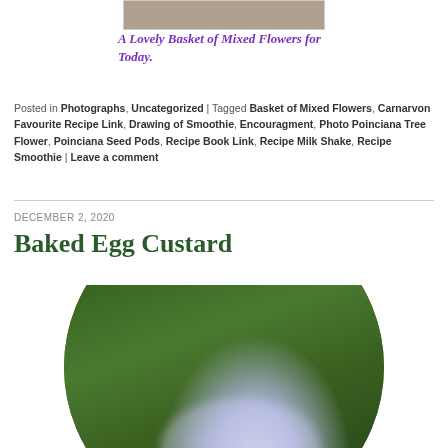[Figure (photo): Partial top of a photograph showing a basket of mixed flowers, cropped at the top]
A Lovely Basket of Mixed Flowers for Today.
Posted in Photographs, Uncategorized | Tagged Basket of Mixed Flowers, Carnarvon Favourite Recipe Link, Drawing of Smoothie, Encouragment, Photo Poinciana Tree Flower, Poinciana Seed Pods, Recipe Book Link, Recipe Milk Shake, Recipe Smoothie | Leave a comment
DECEMBER 2, 2020
Baked Egg Custard
[Figure (photo): Circular cropped photo of a passion flower (passiflora) with white and purple petals and tendrils, surrounded by green leaves and vines]